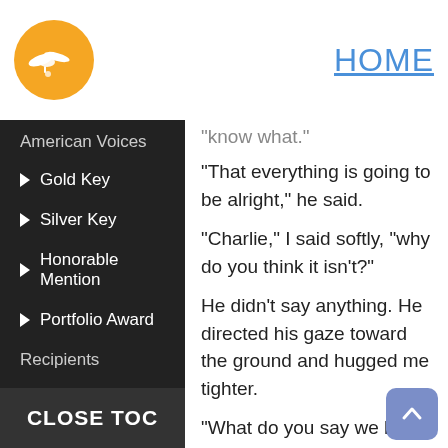[Figure (logo): Orange circular logo with a winged figure/bird icon in white]
HOME
American Voices
Gold Key
Silver Key
Honorable Mention
Portfolio Award
Recipients
know what.
"That everything is going to be alright," he said.
"Charlie," I said softly, "why do you think it isn't?"
He didn't say anything. He directed his gaze toward the ground and hugged me tighter.
"What do you say we head back in?" I suggested quietly.
"I'm scared."
CLOSE TOC